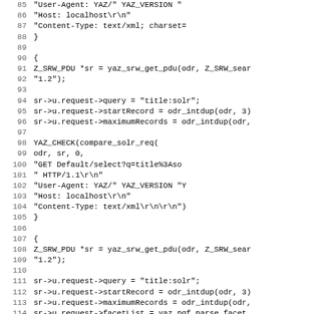Source code listing, lines 85-116, C programming language with YAZ library calls